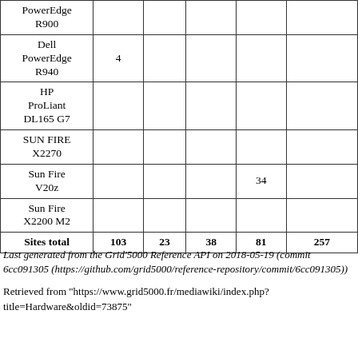|  |  |  |  |  |  |
| --- | --- | --- | --- | --- | --- |
| PowerEdge R900 |  |  |  |  |  |
| Dell PowerEdge R940 | 4 |  |  |  |  |
| HP ProLiant DL165 G7 |  |  |  |  |  |
| SUN FIRE X2270 |  |  |  |  |  |
| Sun Fire V20z |  |  |  | 34 |  |
| Sun Fire X2200 M2 |  |  |  |  |  |
| Sites total | 103 | 23 | 38 | 81 | 257 |
Last generated from the Grid'5000 Reference API on 2018-05-19 (commit 6cc091305 (https://github.com/grid5000/reference-repository/commit/6cc091305))
Retrieved from "https://www.grid5000.fr/mediawiki/index.php?title=Hardware&oldid=73875"